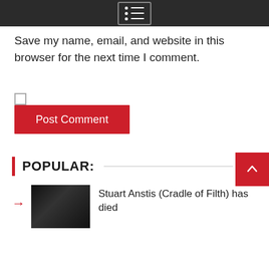Menu
Save my name, email, and website in this browser for the next time I comment.
Post Comment
POPULAR:
Stuart Anstis (Cradle of Filth) has died